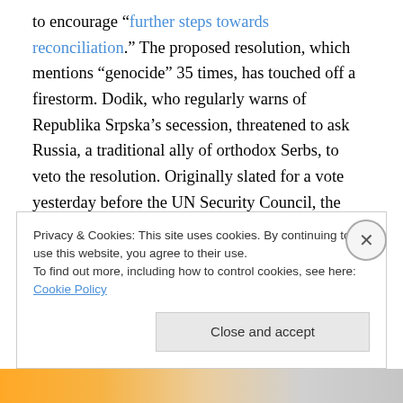to encourage "further steps towards reconciliation." The proposed resolution, which mentions "genocide" 35 times, has touched off a firestorm. Dodik, who regularly warns of Republika Srpska's secession, threatened to ask Russia, a traditional ally of orthodox Serbs, to veto the resolution. Originally slated for a vote yesterday before the UN Security Council, the resolution was rescheduled for today after intense negotiations among the major parties, reportedly because of a threatened veto by Russia.
Republika Srpska's prime minister, Zeljka Cvijanovic, has
Privacy & Cookies: This site uses cookies. By continuing to use this website, you agree to their use.
To find out more, including how to control cookies, see here: Cookie Policy